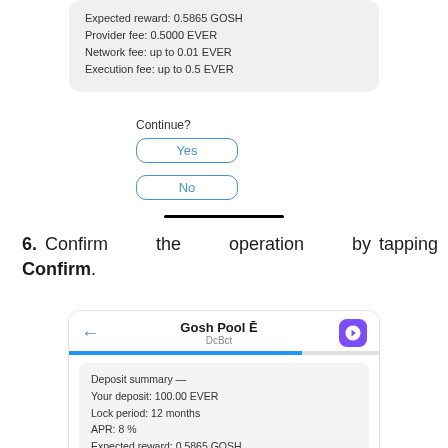[Figure (screenshot): Mobile app screenshot showing deposit summary with Provider fee, Network fee, Execution fee lines, and Yes/No buttons for Continue prompt]
6. Confirm the operation by tapping Confirm.
[Figure (screenshot): Mobile app screenshot of Gosh Pool DcBct screen with progress bar and deposit summary: Your deposit 100.00 EVER, Lock period 12 months, APR 8%, Expected reward 0.5865 GOSH, Provider fee 0.5000 EVER, Network fee up to 0.01 EVER, Execution fee up to 0.5 EVER, with Continue? prompt]